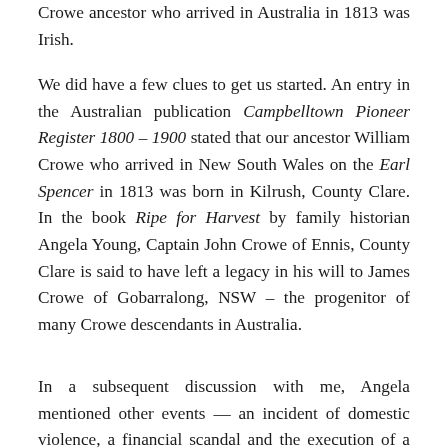Crowe ancestor who arrived in Australia in 1813 was Irish.
We did have a few clues to get us started. An entry in the Australian publication Campbelltown Pioneer Register 1800 – 1900 stated that our ancestor William Crowe who arrived in New South Wales on the Earl Spencer in 1813 was born in Kilrush, County Clare. In the book Ripe for Harvest by family historian Angela Young, Captain John Crowe of Ennis, County Clare is said to have left a legacy in his will to James Crowe of Gobarralong, NSW – the progenitor of many Crowe descendants in Australia.
In a subsequent discussion with me, Angela mentioned other events — an incident of domestic violence, a financial scandal and the execution of a criminal associated with the Crowe family. All of these turned